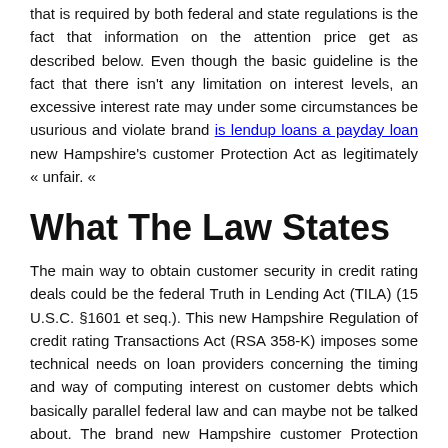that is required by both federal and state regulations is the fact that information on the attention price get as described below. Even though the basic guideline is the fact that there isn't any limitation on interest levels, an excessive interest rate may under some circumstances be usurious and violate brand is lendup loans a payday loan new Hampshire's customer Protection Act as legitimately « unfair. «
What The Law States
The main way to obtain customer security in credit rating deals could be the federal Truth in Lending Act (TILA) (15 U.S.C. §1601 et seq.). This new Hampshire Regulation of credit rating Transactions Act (RSA 358-K) imposes some technical needs on loan providers concerning the timing and way of computing interest on customer debts which basically parallel federal law and can maybe not be talked about. The brand new Hampshire customer Protection Bureau takes the career that the breach of every section of